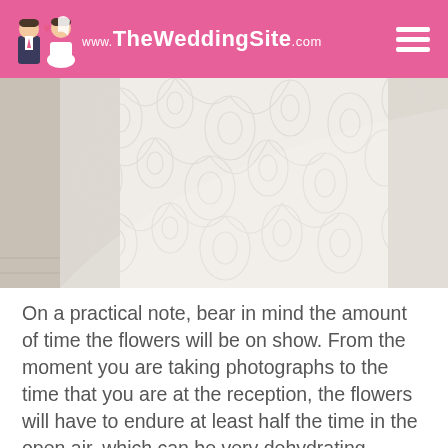www.TheWeddingSite.com
[Figure (photo): Close-up photograph of a white lace wedding dress fabric with intricate floral lace pattern]
On a practical note, bear in mind the amount of time the flowers will be on show. From the moment you are taking photographs to the time that you are at the reception, the flowers will have to endure at least half the time in the open air, which can be very dehydrating. Select flowers that suit the local environment and, if necessary, use a bouquet holder